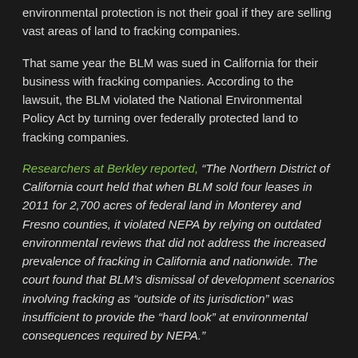environmental protection is not their goal if they are selling vast areas of land to fracking companies.
That same year the BLM was sued in California for their business with fracking companies. According to the lawsuit, the BLM violated the National Environmental Policy Act by turning over federally protected land to fracking companies.
Researchers at Berkley reported, “The Northern District of California court held that when BLM sold four leases in 2011 for 2,700 acres of federal land in Monterey and Fresno counties, it violated NEPA by relying on outdated environmental reviews that did not address the increased prevalence of fracking in California and nationwide. The court found that BLM’s dismissal of development scenarios involving fracking as “outside of its jurisdiction” was insufficient to provide the “hard look” at environmental consequences required by NEPA.”
According to Berkley’s research, the BLM manages approximately 248 million acres and is responsible for about 700 million acres of subsurface mineral resources in the United States. These lands and resources are not held for conservation purposes, but instead large